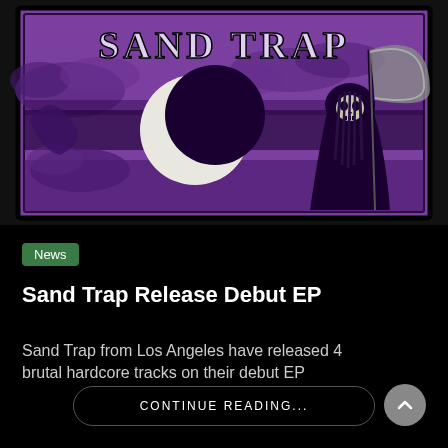[Figure (illustration): Band artwork for Sand Trap: purple background with black border, stylized gothic text 'SAND TRAP' at top, crescent moon in center sky with clouds, grim reaper figure on right holding a scythe, illustrated in black and white on purple.]
News
Sand Trap Release Debut EP
Sand Trap from Los Angeles have released 4 brutal hardcore tracks on their debut EP
CONTINUE READING...